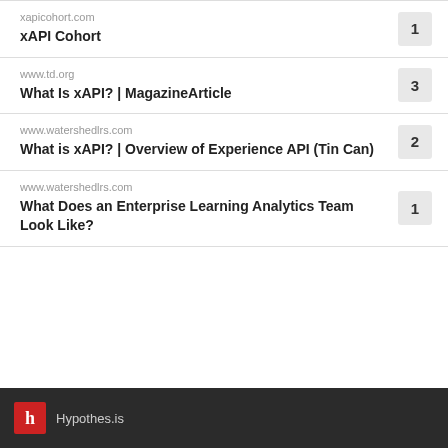xapicohort.com
xAPI Cohort
1
www.td.org
What Is xAPI? | MagazineArticle
3
www.watershedlrs.com
What is xAPI? | Overview of Experience API (Tin Can)
2
www.watershedlrs.com
What Does an Enterprise Learning Analytics Team Look Like?
1
Hypothes.is